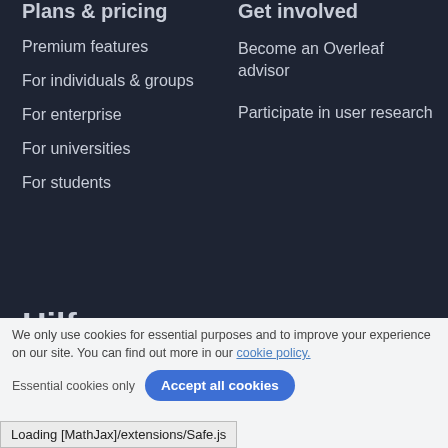Plans & pricing
Premium features
For individuals & groups
For enterprise
For universities
For students
Get involved
Become an Overleaf advisor
Participate in user research
Hilfe
Dokumentation
Contact us
Website status
We only use cookies for essential purposes and to improve your experience on our site. You can find out more in our cookie policy.
Essential cookies only
Accept all cookies
Loading [MathJax]/extensions/Safe.js